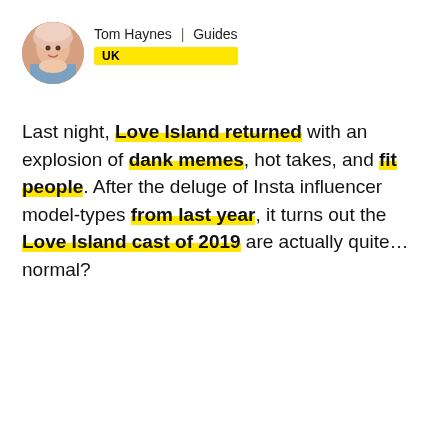[Figure (illustration): Circular avatar photo of Tom Haynes with light pink/reddish hair]
Tom Haynes | Guides
UK
Last night, Love Island returned with an explosion of dank memes, hot takes, and fit people. After the deluge of Insta influencer model-types from last year, it turns out the Love Island cast of 2019 are actually quite... normal?